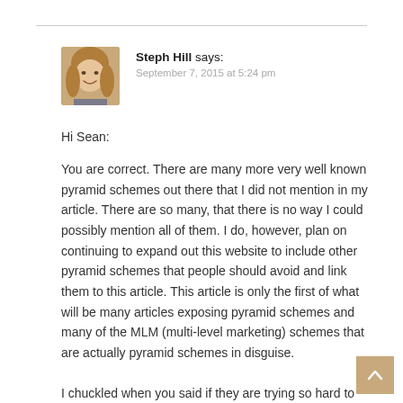Steph Hill says: September 7, 2015 at 5:24 pm
[Figure (photo): Profile photo of Steph Hill, a woman with long blonde hair, smiling]
Hi Sean:
You are correct. There are many more very well known pyramid schemes out there that I did not mention in my article. There are so many, that there is no way I could possibly mention all of them. I do, however, plan on continuing to expand out this website to include other pyramid schemes that people should avoid and link them to this article. This article is only the first of what will be many articles exposing pyramid schemes and many of the MLM (multi-level marketing) schemes that are actually pyramid schemes in disguise.
I chuckled when you said if they are trying so hard to convince you that they are not a pyramid scheme, as